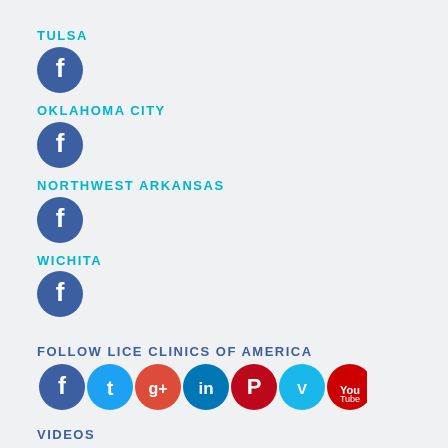TULSA
[Figure (logo): Facebook circle icon button for Tulsa]
OKLAHOMA CITY
[Figure (logo): Facebook circle icon button for Oklahoma City]
NORTHWEST ARKANSAS
[Figure (logo): Facebook circle icon button for Northwest Arkansas]
WICHITA
[Figure (logo): Facebook circle icon button for Wichita]
FOLLOW LICE CLINICS OF AMERICA
[Figure (logo): Social media icons row: Facebook, Twitter, Google+, LinkedIn, Pinterest, Vimeo, YouTube]
VIDEOS